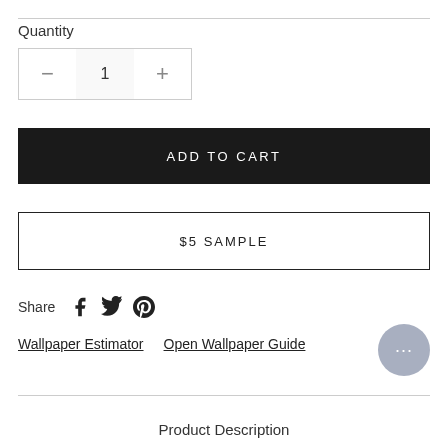Quantity
[Figure (other): Quantity stepper with minus, 1, plus buttons]
ADD TO CART
$5 SAMPLE
Share
[Figure (other): Social share icons: Facebook, Twitter, Pinterest]
Wallpaper Estimator   Open Wallpaper Guide
[Figure (other): Chat bubble button with ellipsis]
Product Description